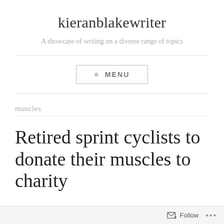kieranblakewriter
A showcase of writing on a diverse range of topics
≡ MENU
muscles
Retired sprint cyclists to donate their muscles to charity
Follow ...